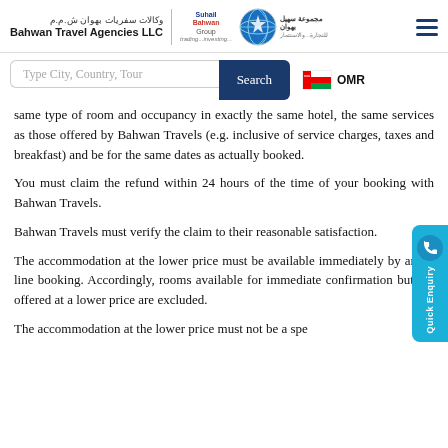وكالات سفريات بهوان ش.م.م | Bahwan Travel Agencies LLC | Suhail Bahwan Group | OMR
same type of room and occupancy in exactly the same hotel, the same services as those offered by Bahwan Travels (e.g. inclusive of service charges, taxes and breakfast) and be for the same dates as actually booked.
You must claim the refund within 24 hours of the time of your booking with Bahwan Travels.
Bahwan Travels must verify the claim to their reasonable satisfaction.
The accommodation at the lower price must be available immediately by an on line booking. Accordingly, rooms available for immediate confirmation but are offered at a lower price are excluded.
The accommodation at the lower price must not be a spe